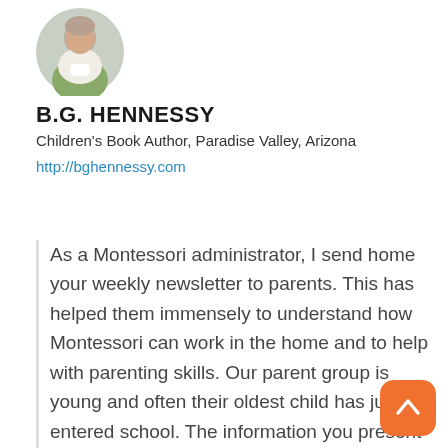[Figure (photo): Circular profile photo of B.G. Hennessy, a woman wearing a green top, cropped to show head and shoulders]
B.G. HENNESSY
Children's Book Author, Paradise Valley, Arizona
http://bghennessy.com
As a Montessori administrator, I send home your weekly newsletter to parents. This has helped them immensely to understand how Montessori can work in the home and to help with parenting skills. Our parent group is young and often their oldest child has just entered school. The information you present is encouraging and educational for them they maneuver their way through situations